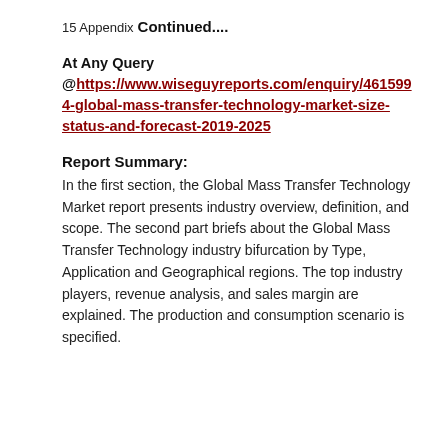15 Appendix
Continued....
At Any Query @https://www.wiseguyreports.com/enquiry/4615994-global-mass-transfer-technology-market-size-status-and-forecast-2019-2025
Report Summary:
In the first section, the Global Mass Transfer Technology Market report presents industry overview, definition, and scope. The second part briefs about the Global Mass Transfer Technology industry bifurcation by Type, Application and Geographical regions. The top industry players, revenue analysis, and sales margin are explained. The production and consumption scenario is specified.